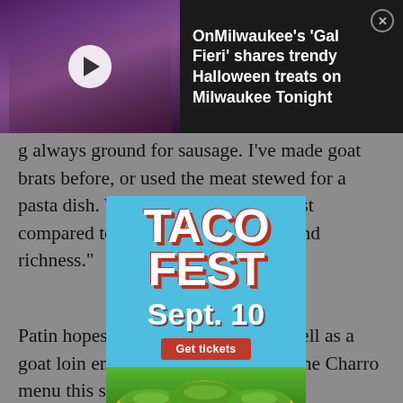[Figure (screenshot): Video notification bar: thumbnail of a person with green-tinted hair and sunglasses, with a white play button overlay, and text: OnMilwaukee's 'Gal Fieri' shares trendy Halloween treats on Milwaukee Tonight, with an X close button]
always ground for sausage. I've made goat brats before, or used the meat stewed for a pasta dish. When it is braised it is best compared to ox tail in deep texture and richness."
Patin hopes to bring goat tacos, as well as a goat loin entrée and goat chorizo to the Charro menu this spring.
When it comes to favorite preparations for goat meat, Swanson has this to say: "Braising (surprise)
[Figure (infographic): Taco Fest advertisement overlay in light blue. Large stylized text 'TACO FEST' in white with red shadow. 'Sept. 10' in white bold text. Red 'Get tickets' button. Bottom section shows colorful tacos with green garnish.]